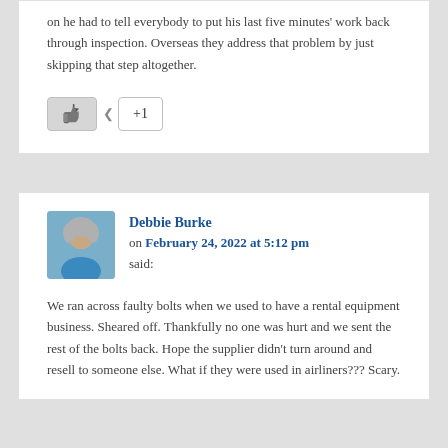on he had to tell everybody to put his last five minutes' work back through inspection. Overseas they address that problem by just skipping that step altogether.
[Figure (other): Like button (thumbs up icon) and +1 button]
Debbie Burke on February 24, 2022 at 5:12 pm said:
We ran across faulty bolts when we used to have a rental equipment business. Sheared off. Thankfully no one was hurt and we sent the rest of the bolts back. Hope the supplier didn't turn around and resell to someone else. What if they were used in airliners??? Scary.